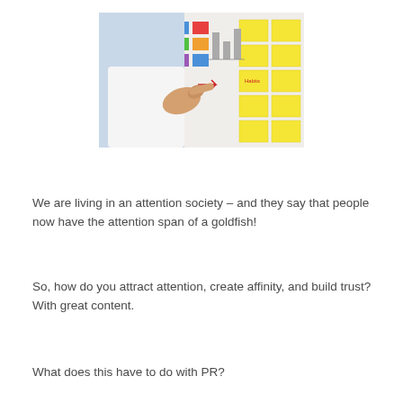[Figure (photo): Person wearing a white shirt pointing at a whiteboard covered with sticky notes (yellow, green, blue) and printed charts/diagrams.]
We are living in an attention society – and they say that people now have the attention span of a goldfish!
So, how do you attract attention, create affinity, and build trust?  With great content.
What does this have to do with PR?